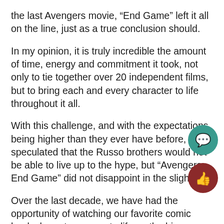the last Avengers movie, “End Game” left it all on the line, just as a true conclusion should.
In my opinion, it is truly incredible the amount of time, energy and commitment it took, not only to tie together over 20 independent films, but to bring each and every character to life throughout it all.
With this challenge, and with the expectations being higher than they ever have before, many speculated that the Russo brothers would not be able to live up to the hype, but “Avengers: End Game” did not disappoint in the slightest.
Over the last decade, we have had the opportunity of watching our favorite comic book characters come to life on the big screen.
As a huge Marvel fan growing up, I vividly remembe...